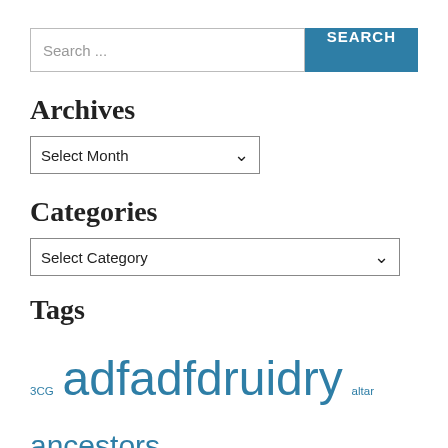Search ...
Archives
Select Month
Categories
Select Category
Tags
3CG adfadfdruidry altar ancestors athena bardry clergy community comparative mythology ctp dedicant path depression divination dp dpwoty earth mother election ethics fire greek greek oracle harvest healing hellenic hellenic pagan